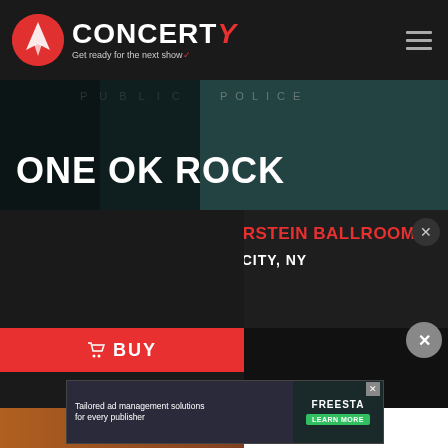[Figure (screenshot): Concerty website screenshot showing header with logo, ONE OK ROCK concert event listing at Hammerstein Ballroom, New York City, NY on September 30, with Buy and Book Accommodation buttons, and a Freestar ad banner at bottom]
ONE OK ROCK
HAMMERSTEIN BALLROOM
NEW YORK CITY, NY
30
SEP
BUY
Book Acco...
Tailored ad management solutions for every publisher
FREESTA
LEARN MORE